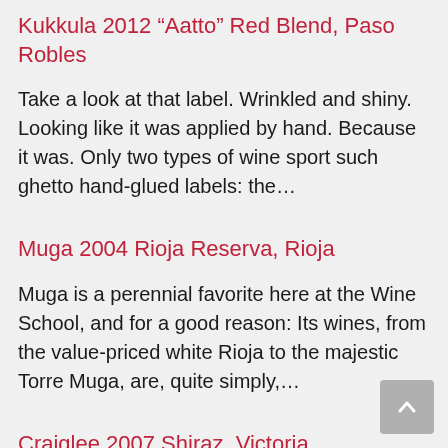Kukkula 2012 “Aatto” Red Blend, Paso Robles
Take a look at that label. Wrinkled and shiny. Looking like it was applied by hand. Because it was. Only two types of wine sport such ghetto hand-glued labels: the…
Muga 2004 Rioja Reserva, Rioja
Muga is a perennial favorite here at the Wine School, and for a good reason: Its wines, from the value-priced white Rioja to the majestic Torre Muga, are, quite simply,…
Craiglee 2007 Shiraz, Victoria